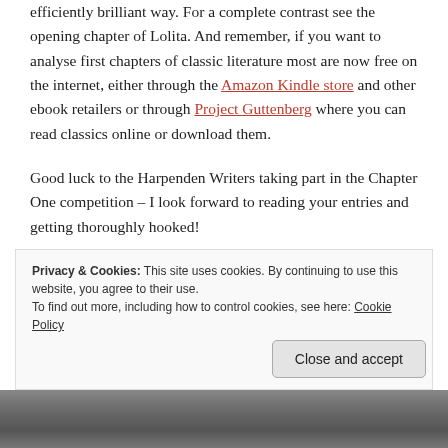efficiently brilliant way. For a complete contrast see the opening chapter of Lolita. And remember, if you want to analyse first chapters of classic literature most are now free on the internet, either through the Amazon Kindle store and other ebook retailers or through Project Guttenberg where you can read classics online or download them.
Good luck to the Harpenden Writers taking part in the Chapter One competition – I look forward to reading your entries and getting thoroughly hooked!
Privacy & Cookies: This site uses cookies. By continuing to use this website, you agree to their use. To find out more, including how to control cookies, see here: Cookie Policy